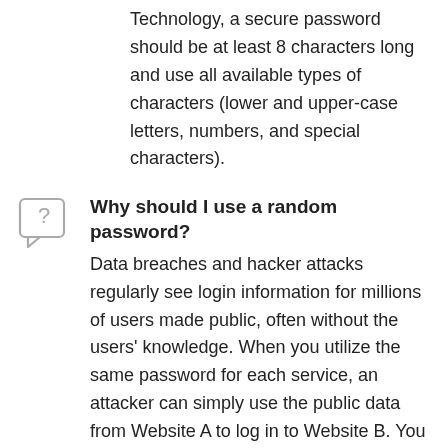Technology, a secure password should be at least 8 characters long and use all available types of characters (lower and upper-case letters, numbers, and special characters).
Why should I use a random password?
Data breaches and hacker attacks regularly see login information for millions of users made public, often without the users' knowledge. When you utilize the same password for each service, an attacker can simply use the public data from Website A to log in to Website B. You can prevent this by generating a new random password for each account, compartmentalizing your digital security.
How can I remember a random password?
We recommend the use of a password manager. This